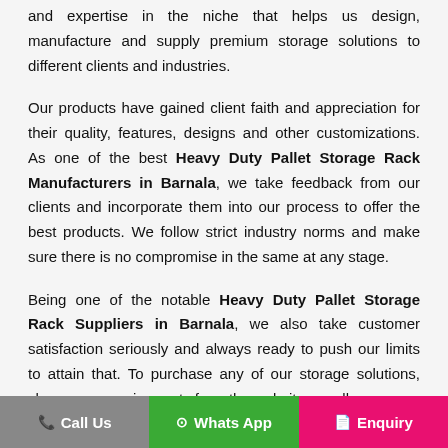and expertise in the niche that helps us design, manufacture and supply premium storage solutions to different clients and industries.
Our products have gained client faith and appreciation for their quality, features, designs and other customizations. As one of the best Heavy Duty Pallet Storage Rack Manufacturers in Barnala, we take feedback from our clients and incorporate them into our process to offer the best products. We follow strict industry norms and make sure there is no compromise in the same at any stage.
Being one of the notable Heavy Duty Pallet Storage Rack Suppliers in Barnala, we also take customer satisfaction seriously and always ready to push our limits to attain that. To purchase any of our storage solutions, share your requirements from the website or call us now.
Leading The Pallet Rack
Call Us | Whats App | Enquiry